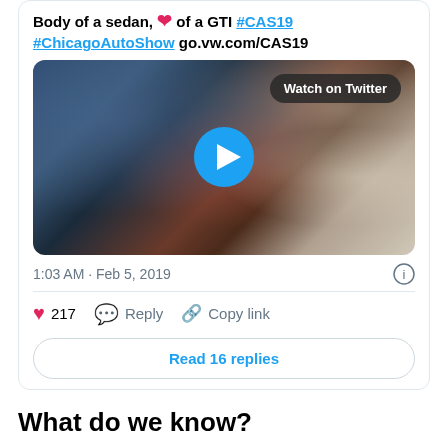Body of a sedan, ❤ of a GTI #CAS19 #ChicagoAutoShow go.vw.com/CAS19
[Figure (screenshot): Video thumbnail with blurred car image in dark background, 'Watch on Twitter' button in top right, blue play button circle in center]
1:03 AM · Feb 5, 2019
♥ 217   Reply   Copy link
Read 16 replies
What do we know?